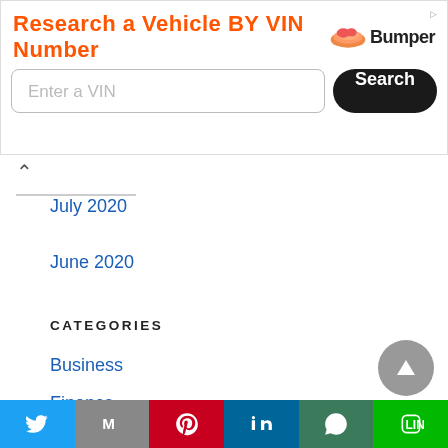[Figure (screenshot): Advertisement banner: 'Research a Vehicle BY VIN Number' with Bumper logo, VIN input field, and Search button]
July 2020
June 2020
CATEGORIES
Business
Finance
Headlines
Lifestyle
News
Opinion